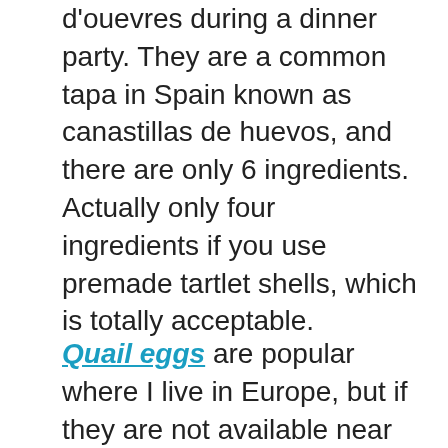d'ouevres during a dinner party. They are a common tapa in Spain known as canastillas de huevos, and there are only 6 ingredients. Actually only four ingredients if you use premade tartlet shells, which is totally acceptable.
Quail eggs are popular where I live in Europe, but if they are not available near you, you will